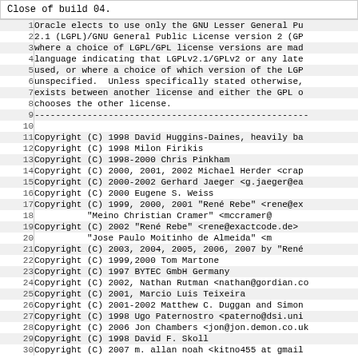Close of build 04.
| line | content |
| --- | --- |
| 1 | Oracle elects to use only the GNU Lesser General Pu |
| 2 | 2.1 (LGPL)/GNU General Public License version 2 (GP |
| 3 | where a choice of LGPL/GPL license versions are mad |
| 4 | language indicating that LGPLv2.1/GPLv2 or any late |
| 5 | used, or where a choice of which version of the LGP |
| 6 | unspecified.  Unless specifically stated otherwise, |
| 7 | exists between another license and either the GPL o |
| 8 | chooses the other license. |
| 9 | ---------------------------------------------------- |
| 10 |  |
| 11 | Copyright (C) 1998 David Huggins-Daines, heavily ba |
| 12 | Copyright (C) 1998 Milon Firikis |
| 13 | Copyright (C) 1998-2000 Chris Pinkham |
| 14 | Copyright (C) 2000, 2001, 2002 Michael Herder <crap |
| 15 | Copyright (C) 2000-2002 Gerhard Jaeger <g.jaeger@ea |
| 16 | Copyright (C) 2000 Eugene S. Weiss |
| 17 | Copyright (C) 1999, 2000, 2001 "René Rebe" <rene@ex |
| 18 |           "Meino Christian Cramer" <mccramer@ |
| 19 | Copyright (C) 2002 "René Rebe" <rene@exactcode.de> |
| 20 |           "Jose Paulo Moitinho de Almeida" <m |
| 21 | Copyright (C) 2003, 2004, 2005, 2006, 2007 by "René |
| 22 | Copyright (C) 1999,2000 Tom Martone |
| 23 | Copyright (C) 1997 BYTEC GmbH Germany |
| 24 | Copyright (C) 2002, Nathan Rutman <nathan@gordian.co |
| 25 | Copyright (C) 2001, Marcio Luis Teixeira |
| 26 | Copyright (C) 2001-2002 Matthew C. Duggan and Simon |
| 27 | Copyright (C) 1998 Ugo Paternostro <paterno@dsi.uni |
| 28 | Copyright (C) 2006 Jon Chambers <jon@jon.demon.co.uk |
| 29 | Copyright (C) 1998 David F. Skoll |
| 30 | Copyright (C) 2007 m. allan noah <kitno455 at gmail |